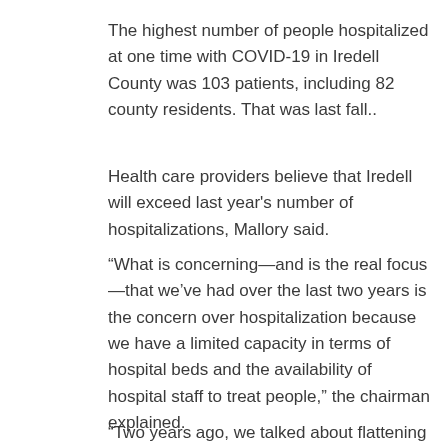The highest number of people hospitalized at one time with COVID-19 in Iredell County was 103 patients, including 82 county residents. That was last fall..
Health care providers believe that Iredell will exceed last year's number of hospitalizations, Mallory said.
“What is concerning—and is the real focus—that we’ve had over the last two years is the concern over hospitalization because we have a limited capacity in terms of hospital beds and the availability of hospital staff to treat people,” the chairman explained.
“Two years ago, we talked about flattening the curve so we don’t overtax our health care providers and health department,” he added.
Mallory urged citizens to “do whatever they can do.